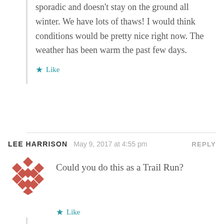sporadic and doesn't stay on the ground all winter. We have lots of thaws! I would think conditions would be pretty nice right now. The weather has been warm the past few days.
★ Like
LEE HARRISON  May 9, 2017 at 4:55 pm  REPLY
Could you do this as a Trail Run?
★ Like